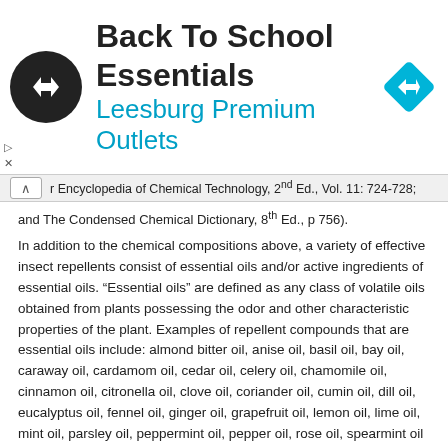[Figure (infographic): Advertisement banner for Back To School Essentials at Leesburg Premium Outlets, featuring a black circular logo with a double-arrow symbol, the title text, subtitle in blue, and a blue diamond-shaped navigation icon on the right.]
r Encyclopedia of Chemical Technology, 2nd Ed., Vol. 11: 724-728; and The Condensed Chemical Dictionary, 8th Ed., p 756).
In addition to the chemical compositions above, a variety of effective insect repellents consist of essential oils and/or active ingredients of essential oils. “Essential oils” are defined as any class of volatile oils obtained from plants possessing the odor and other characteristic properties of the plant. Examples of repellent compounds that are essential oils include: almond bitter oil, anise oil, basil oil, bay oil, caraway oil, cardamom oil, cedar oil, celery oil, chamomile oil, cinnamon oil, citronella oil, clove oil, coriander oil, cumin oil, dill oil, eucalyptus oil, fennel oil, ginger oil, grapefruit oil, lemon oil, lime oil, mint oil, parsley oil, peppermint oil, pepper oil, rose oil, spearmint oil (menthol), sweet orange oil, thyme oil, turmeric oil, and oil of wintergreen. Examples of active ingredients in essential oils are: citronellal, methyl salicylate, ethyl salicylate, propyl salicylate, citronellol, safrole, and limonene.
In contrast to an “insect repellent”, an “insecticide” is a compound or mixture which is capable of poisoning an insect via its oral ingestion, by